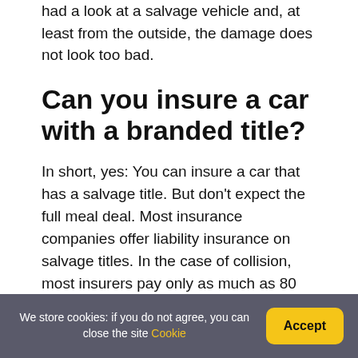had a look at a salvage vehicle and, at least from the outside, the damage does not look too bad.
Can you insure a car with a branded title?
In short, yes: You can insure a car that has a salvage title. But don't expect the full meal deal. Most insurance companies offer liability insurance on salvage titles. In the case of collision, most insurers pay only as much as 80 percent of the car's calculated market value.
Is it OK to buy a car with a
We store cookies: if you do not agree, you can close the site Cookie